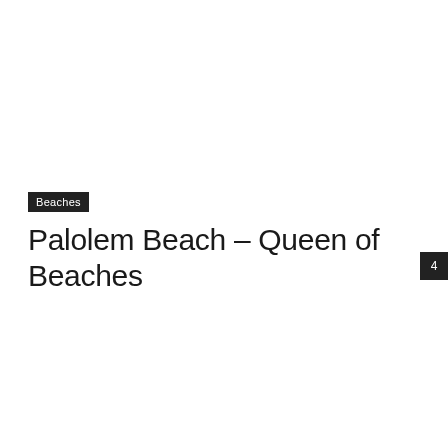Beaches
Palolem Beach – Queen of Beaches
4